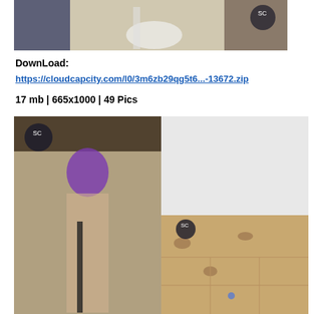[Figure (photo): Photo showing person holding a white guitar with fishnet gloves, cans visible on floor, SC logo watermark]
DownLoad:
https://cloudcapcity.com/l0/3m6zb29qg5t6...-13672.zip
17 mb | 665x1000 | 49 Pics
[Figure (photo): Photo of person with purple hair, SC logo watermark]
[Figure (photo): Photo with cheetah print background and blue items on tile floor, SC logo watermark]